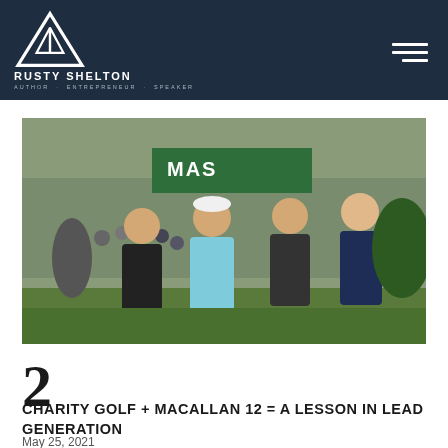RUSTY SHELTON · AUTHOR · ENTREPRENEUR · SPEAKER
[Figure (photo): Four men standing together at a golf event near the Masters tournament signage, outdoors with a crowd in the background. They are wearing polo shirts.]
2
CHARITY GOLF + MACALLAN 12 = A LESSON IN LEAD GENERATION
May 25, 2021